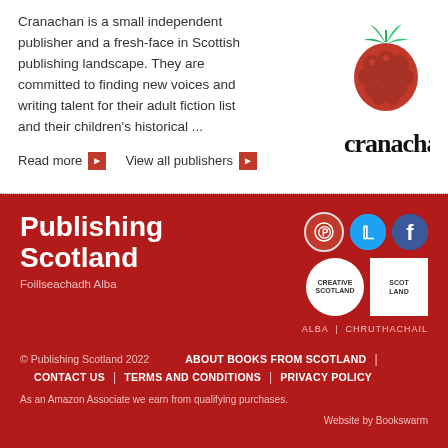Cranachan is a small independent publisher and a fresh-face in Scottish publishing landscape. They are committed to finding new voices and writing talent for their adult fiction list and their children's historical ...
[Figure (logo): Cranachan publisher logo with a raspberry image above the text 'cranachan']
Read more ▶   View all publishers ▶
Publishing Scotland
Foillseachadh Alba
© Publishing Scotland 2022   ABOUT BOOKS FROM SCOTLAND | CONTACT US | TERMS AND CONDITIONS | PRIVACY POLICY
As an Amazon Associate we earn from qualifying purchases.
Website by Bookswarm